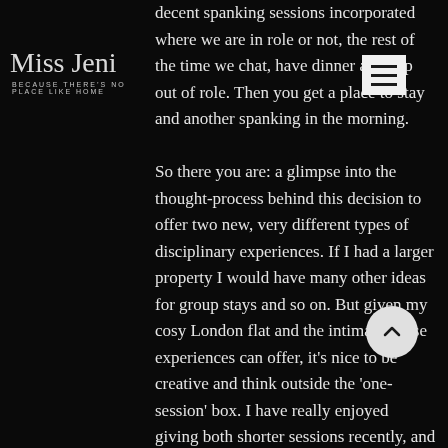decent spanking sessions incorporated where we are in role or not, the rest of the time we chat, have dinner and slip out of role. Then you get a place to stay and another spanking in the morning.
So there you are: a glimpse into the thought-process behind this decision to offer two new, very different types of disciplinary experiences. If I had a larger property I would have many other ideas for group stays and so on. But given my cosy London flat and the intimacy these experiences can offer, it's nice to be creative and think outside the 'one-session' box. I have really enjoyed giving both shorter sessions recently, and the intense overnight stays. In particular I like to see the effect it has had on the